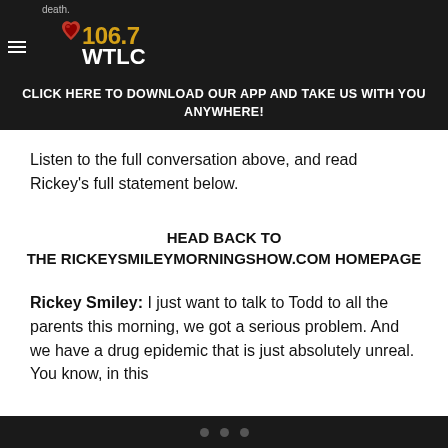death.
[Figure (logo): 106.7 WTLC radio station logo with red heart graphic and gold/white text]
CLICK HERE TO DOWNLOAD OUR APP AND TAKE US WITH YOU ANYWHERE!
Listen to the full conversation above, and read Rickey's full statement below.
HEAD BACK TO THE RICKEYSMILEYMORNINGSHOW.COM HOMEPAGE
Rickey Smiley: I just want to talk to Todd to all the parents this morning, we got a serious problem. And we have a drug epidemic that is just absolutely unreal. You know, in this
• • •